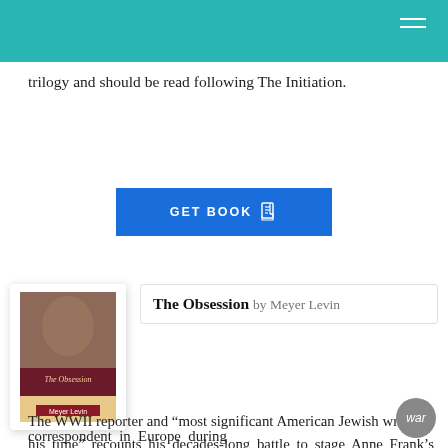trilogy and should be read following The Initiation.
GET BOOK
The Obsession by Meyer Levin
The WWII reporter and “most significant American Jewish writer of his time” recounts his decades-long battle to stage Anne Frank’s diaries (Los Angeles Times). As a war correspondent in Europe during World War II, Meyer Levin was among...